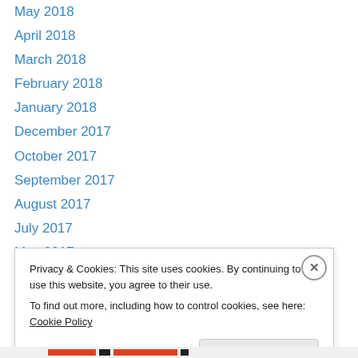May 2018
April 2018
March 2018
February 2018
January 2018
December 2017
October 2017
September 2017
August 2017
July 2017
May 2017
March 2017
September 2016
Privacy & Cookies: This site uses cookies. By continuing to use this website, you agree to their use. To find out more, including how to control cookies, see here: Cookie Policy
Close and accept